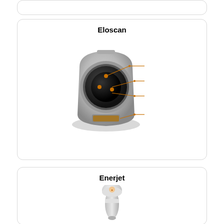[Figure (illustration): Partial top card (cropped), white rounded rectangle border]
Eloscan
[Figure (engineering-diagram): Eloscan medical device - rounded grey box-shaped device with circular aperture, orange annotation lines pointing to components]
Enerjet
[Figure (photo): Enerjet medical handheld device - white pen-like device with rounded head]